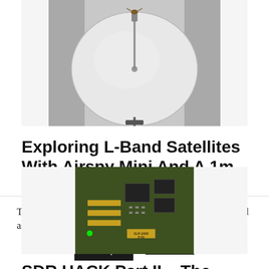[Figure (photo): Photo of a white satellite dish approximately 1 meter in diameter, set against a light/outdoor background.]
Exploring L-Band Satellites With Airspy Mini And A 1m Dish
[Figure (photo): Close-up photo of a green/yellow circuit board (SDR hardware mod), showing electronic components, chips, and the label SLP-2400 P-03.]
SDR HACK Part II – The Mod – Receive up
This website uses cookies to improve your experience. We'll assume you're ok with this, but you can opt-out if you wish.
Accept
Read More